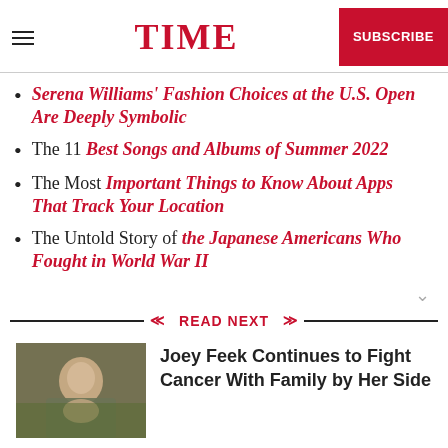TIME | SUBSCRIBE
Serena Williams' Fashion Choices at the U.S. Open Are Deeply Symbolic
The 11 Best Songs and Albums of Summer 2022
The Most Important Things to Know About Apps That Track Your Location
The Untold Story of the Japanese Americans Who Fought in World War II
READ NEXT
Joey Feek Continues to Fight Cancer With Family by Her Side
[Figure (photo): Photo of a person in military camouflage uniform holding a baby]